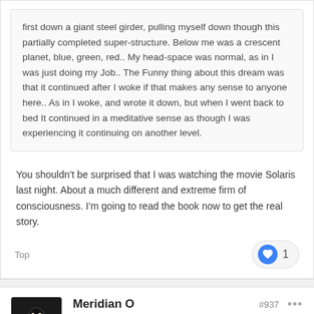first down a giant steel girder, pulling myself down though this partially completed super-structure. Below me was a crescent planet, blue, green, red.. My head-space was normal, as in I was just doing my Job.. The Funny thing about this dream was that it continued after I woke if that makes any sense to anyone here.. As in I woke, and wrote it down, but when I went back to bed It continued in a meditative sense as though I was experiencing it continuing on another level.
You shouldn't be surprised that I was watching the movie Solaris last night. About a much different and extreme firm of consciousness. I'm going to read the book now to get the real story.
Top
1
Meridian O
Posted February 16, 2014
#937